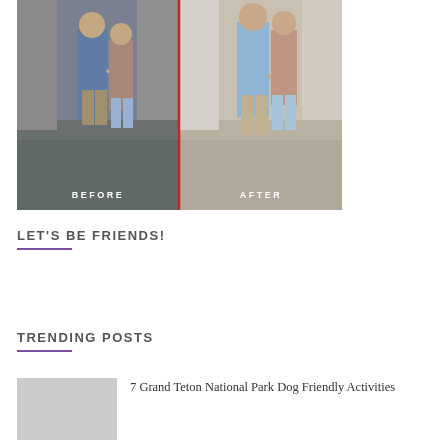[Figure (photo): Before and after photo comparison of a couple walking on a cobblestone street. Left panel labeled BEFORE shows a darker/cooler toned image; right panel labeled AFTER shows a warmer/brighter toned image.]
LET'S BE FRIENDS!
TRENDING POSTS
7 Grand Teton National Park Dog Friendly Activities